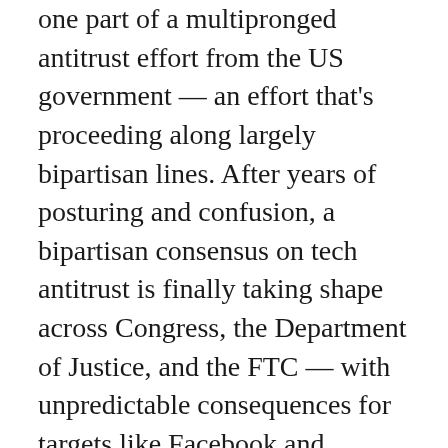one part of a multipronged antitrust effort from the US government — an effort that's proceeding along largely bipartisan lines. After years of posturing and confusion, a bipartisan consensus on tech antitrust is finally taking shape across Congress, the Department of Justice, and the FTC — with unpredictable consequences for targets like Facebook and Google.
Last week, the House Judiciary Committee released a slate of bipartisan bills to chip away at tech's power, including measures that would empower the FTC and Justice Department to break up tech firms by forcing them to sell off parts of their businesses that could create conflicts of interest. On Wednesday, Chairman Jerry Nadler (D-NY) went